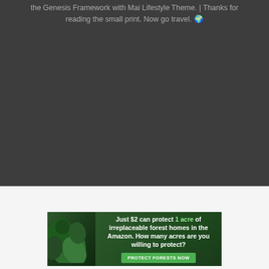the Genesis Framework with Mai Lifestyle Theme. | Thanks for reading the small print. Now go travel. 🌍
[Figure (other): Advertisement banner for Amazon forest protection. Text: 'Just $2 can protect 1 acre of irreplaceable forest homes in the Amazon. How many acres are you willing to protect?' with a green 'PROTECT FORESTS NOW' button and forest imagery on the left.]